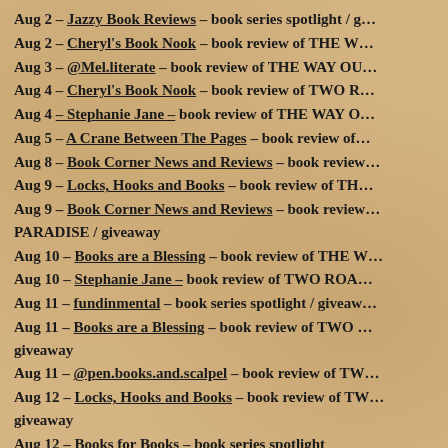Aug 2 – Jazzy Book Reviews – book series spotlight / g…
Aug 2 – Cheryl's Book Nook – book review of THE W…
Aug 3 – @Mel.literate – book review of THE WAY OU…
Aug 4 – Cheryl's Book Nook – book review of TWO R…
Aug 4 – Stephanie Jane – book review of THE WAY O…
Aug 5 – A Crane Between The Pages – book review of…
Aug 8 – Book Corner News and Reviews – book review…
Aug 9 – Locks, Hooks and Books – book review of TH…
Aug 9 – Book Corner News and Reviews – book review… PARADISE / giveaway
Aug 10 – Books are a Blessing – book review of THE W…
Aug 10 – Stephanie Jane – book review of TWO ROA…
Aug 11 – fundinmental – book series spotlight / giveaw…
Aug 11 – Books are a Blessing – book review of TWO … giveaway
Aug 11 – @pen.books.and.scalpel – book review of TW…
Aug 12 – Locks, Hooks and Books – book review of TW… giveaway
Aug 12 – Books for Books – book series spotlight